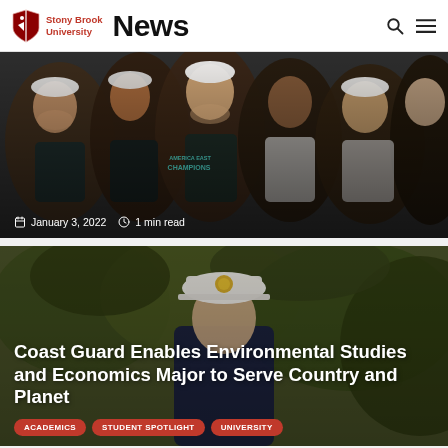Stony Brook University News
[Figure (photo): Group of young women athletes smiling and celebrating wearing America East Champions t-shirts and hats]
January 3, 2022  1 min read
[Figure (photo): Coast Guard officer in uniform white cap, outdoor setting with trees]
Coast Guard Enables Environmental Studies and Economics Major to Serve Country and Planet
ACADEMICS  STUDENT SPOTLIGHT  UNIVERSITY